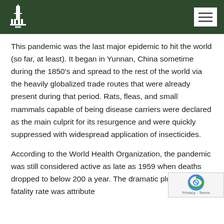This pandemic was the last major epidemic to hit the world (so far, at least). It began in Yunnan, China sometime during the 1850's and spread to the rest of the world via the heavily globalized trade routes that were already present during that period. Rats, fleas, and small mammals capable of being disease carriers were declared as the main culprit for its resurgence and were quickly suppressed with widespread application of insecticides.
According to the World Health Organization, the pandemic was still considered active as late as 1959 when deaths dropped to below 200 a year. The dramatic plummet in the fatality rate was attributed the effective use of modern medicine, their infected...